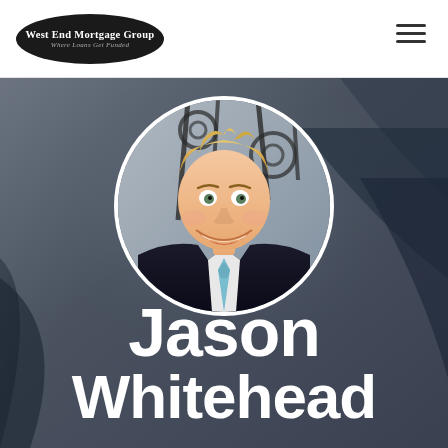West End Mortgage Group — Where Loans Get Funded
[Figure (photo): Circular portrait photo of Jason Whitehead, a smiling man with blond hair wearing a dark suit and light blue tie, set against a background with decorative iron railings. Below the photo are his name in large white bold text: Jason Whitehead. The hero background is a dark grayish-blue blurred photo.]
Jason Whitehead